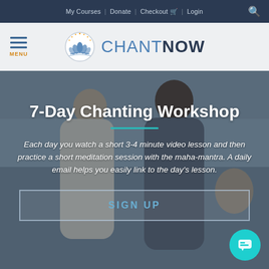My Courses | Donate | Checkout | Login
[Figure (logo): ChantNow logo with lotus flower icon and text CHANTNOW]
7-Day Chanting Workshop
Each day you watch a short 3-4 minute video lesson and then practice a short meditation session with the maha-mantra. A daily email helps you easily link to the day's lesson.
SIGN UP